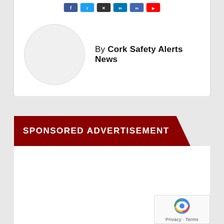[Figure (other): Social media share icons (Facebook, Twitter, X/close, LinkedIn, another icon, YouTube/red) displayed in a row at the top of a white card]
By Cork Safety Alerts News
[Figure (photo): Circular avatar placeholder — empty white circle with light grey border, representing an author photo]
SPONSORED ADVERTISEMENT
[Figure (other): White advertisement content area (empty)]
[Figure (other): reCAPTCHA badge in bottom right corner showing reCAPTCHA logo and 'Privacy · Terms' text]